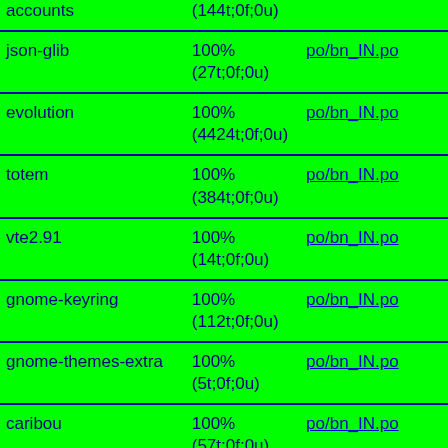| Package | Translation | File |
| --- | --- | --- |
| accounts | (144t;0f;0u) |  |
| json-glib | 100%
(27t;0f;0u) | po/bn_IN.po |
| evolution | 100%
(4424t;0f;0u) | po/bn_IN.po |
| totem | 100%
(384t;0f;0u) | po/bn_IN.po |
| vte2.91 | 100%
(14t;0f;0u) | po/bn_IN.po |
| gnome-keyring | 100%
(112t;0f;0u) | po/bn_IN.po |
| gnome-themes-extra | 100%
(5t;0f;0u) | po/bn_IN.po |
| caribou | 100%
(57t;0f;0u) | po/bn_IN.po |
| cheese | 100%
(120t;0f;0u) | po/bn_IN.po |